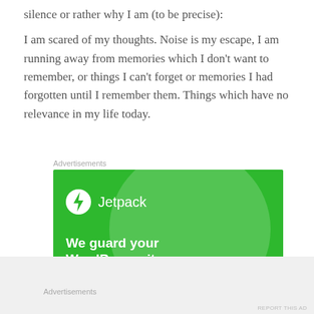silence or rather why I am (to be precise):
I am scared of my thoughts. Noise is my escape, I am running away from memories which I don't want to remember, or things I can't forget or memories I had forgotten until I remember them. Things which have no relevance in my life today.
Advertisements
[Figure (infographic): Jetpack advertisement banner on green background with circular highlight. Shows Jetpack logo (lightning bolt in circle) and name, with tagline 'We guard your WordPress site.']
Advertisements
REPORT THIS AD